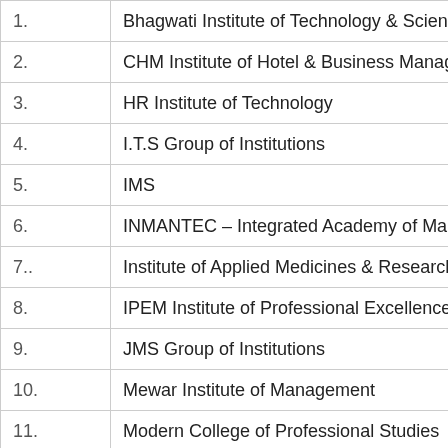| No. | Institution |
| --- | --- |
| 1. | Bhagwati Institute of Technology & Science |
| 2. | CHM Institute of Hotel & Business Manageme |
| 3. | HR Institute of Technology |
| 4. | I.T.S Group of Institutions |
| 5. | IMS |
| 6. | INMANTEC – Integrated Academy of Manager |
| 7.. | Institute of Applied Medicines & Research |
| 8. | IPEM Institute of Professional Excellence & M |
| 9. | JMS Group of Institutions |
| 10. | Mewar Institute of Management |
| 11. | Modern College of Professional Studies |